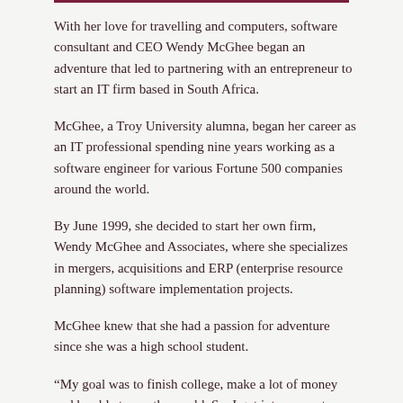With her love for travelling and computers, software consultant and CEO Wendy McGhee began an adventure that led to partnering with an entrepreneur to start an IT firm based in South Africa.
McGhee, a Troy University alumna, began her career as an IT professional spending nine years working as a software engineer for various Fortune 500 companies around the world.
By June 1999, she decided to start her own firm, Wendy McGhee and Associates, where she specializes in mergers, acquisitions and ERP (enterprise resource planning) software implementation projects.
McGhee knew that she had a passion for adventure since she was a high school student.
“My goal was to finish college, make a lot of money and be able to see the world. So, I got into computers after I